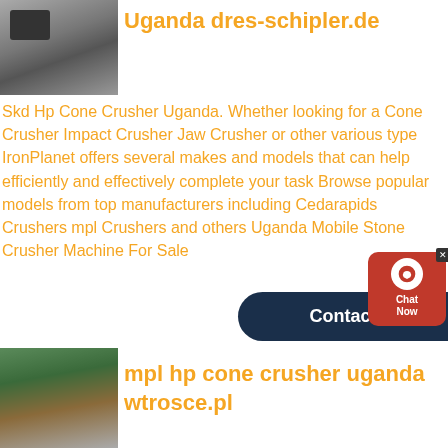[Figure (photo): Mining or quarry site with machinery and stone/gravel pile]
Uganda dres-schipler.de
Skd Hp Cone Crusher Uganda. Whether looking for a Cone Crusher Impact Crusher Jaw Crusher or other various type IronPlanet offers several makes and models that can help efficiently and effectively complete your task Browse popular models from top manufacturers including Cedarapids Crushers mpl Crushers and others Uganda Mobile Stone Crusher Machine For Sale
[Figure (other): Chat Now widget with red background and chat icon]
[Figure (other): Contact button, dark navy rounded rectangle]
[Figure (photo): Excavator and crushing equipment at a mining site with forest background]
mpl hp cone crusher uganda wtrosce.pl